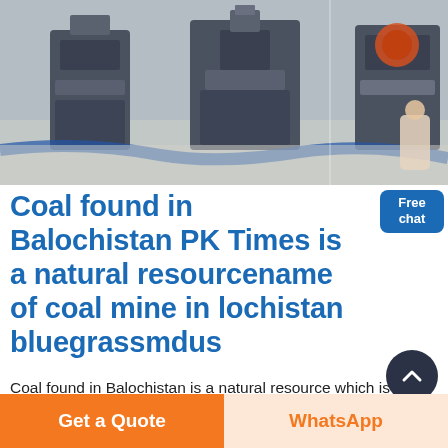[Figure (photo): Industrial mining equipment/machinery in a factory or processing facility, grey machinery frames and equipment on a grey floor]
Coal found in Balochistan PK Times is a natural resourcename of coal mine in lochistan bluegrassmdus
Coal found in Balochistan is a natural resource which is used in our daily life Sharig coal mine was in Harnai in the district of Sibi around 160 km from Quettaname of coal mine balochistan coal balochistan coal mines list of successful candidates of district quetta names of coal mines in balochistan coal mill